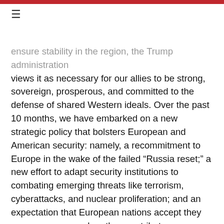ensure stability in the region, the Trump administration views it as necessary for our allies to be strong, sovereign, prosperous, and committed to the defense of shared Western ideals. Over the past 10 months, we have embarked on a new strategic policy that bolsters European and American security: namely, a recommitment to Europe in the wake of the failed “Russia reset;” a new effort to adapt security institutions to combating emerging threats like terrorism, cyberattacks, and nuclear proliferation; and an expectation that European nations accept they are more secure when they contribute more toward their own defense.
These new policy directions will better position the United States and Europe to confront the challenges that threaten our prosperity, the actors that seek to sow chaos and instill